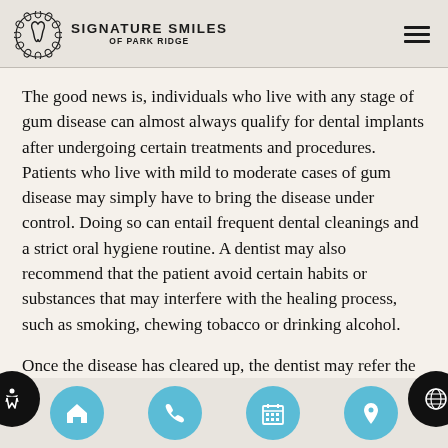SIGNATURE SMILES OF PARK RIDGE
The good news is, individuals who live with any stage of gum disease can almost always qualify for dental implants after undergoing certain treatments and procedures. Patients who live with mild to moderate cases of gum disease may simply have to bring the disease under control. Doing so can entail frequent dental cleanings and a strict oral hygiene routine. A dentist may also recommend that the patient avoid certain habits or substances that may interfere with the healing process, such as smoking, chewing tobacco or drinking alcohol.
Once the disease has cleared up, the dentist may refer the patient to an oral surgeon to determine if the mouth is